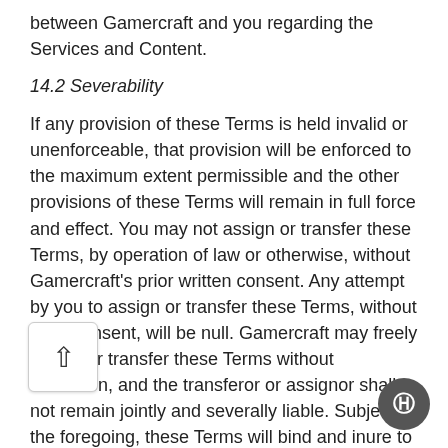between Gamercraft and you regarding the Services and Content.
14.2 Severability
If any provision of these Terms is held invalid or unenforceable, that provision will be enforced to the maximum extent permissible and the other provisions of these Terms will remain in full force and effect. You may not assign or transfer these Terms, by operation of law or otherwise, without Gamercraft’s prior written consent. Any attempt by you to assign or transfer these Terms, without such consent, will be null. Gamercraft may freely assign or transfer these Terms without restriction, and the transferor or assignor shall not remain jointly and severally liable. Subject to the foregoing, these Terms will bind and inure to